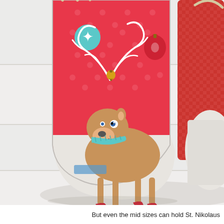[Figure (photo): A decorative Christmas stocking photographed on a white wooden surface. The stocking has a white/cream base with a cute cartoon reindeer applique featuring swirly antlers with a gold bell, blue scarf, and red hooves. The upper cuff portion is bright pink/red with polka dots and features Christmas ornament decorations (teal star ornament and red ornament). A rope/cord handle is visible at the top. A second stocking with red gingham fabric is partially visible on the right side. The stocking sits on a white wooden plank background with soft shadows.]
But even the mid sizes can hold St. Nikolaus